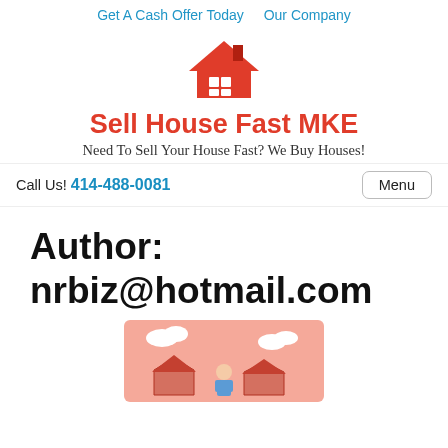Get A Cash Offer Today   Our Company
[Figure (logo): Red house icon with roof and grid window]
Sell House Fast MKE
Need To Sell Your House Fast? We Buy Houses!
Call Us! 414-488-0081   Menu
Author:
nrbiz@hotmail.com
[Figure (illustration): Cartoon illustration with a person, houses, and clouds on a pink background]